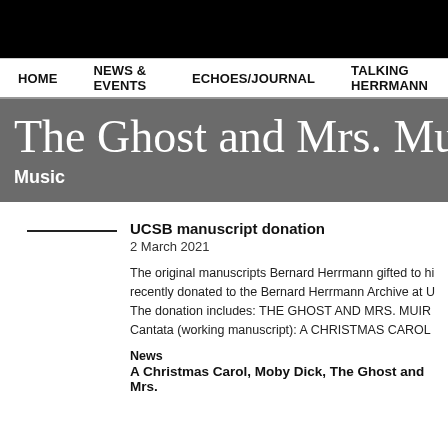[Figure (other): Black top bar background]
HOME    NEWS & EVENTS    ECHOES/JOURNAL    TALKING HERRMANN
The Ghost and Mrs. Muir
Music
UCSB manuscript donation
2 March 2021
The original manuscripts Bernard Herrmann gifted to hi... recently donated to the Bernard Herrmann Archive at U... The donation includes: THE GHOST AND MRS. MUIR... Cantata (working manuscript): A CHRISTMAS CAROL
News
A Christmas Carol, Moby Dick, The Ghost and Mrs.